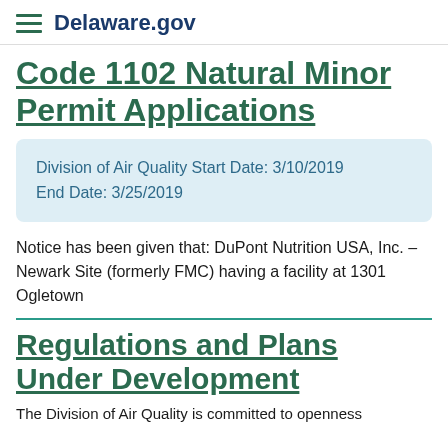Delaware.gov
Code 1102 Natural Minor Permit Applications
Division of Air Quality Start Date: 3/10/2019
End Date: 3/25/2019
Notice has been given that: DuPont Nutrition USA, Inc. – Newark Site (formerly FMC) having a facility at 1301 Ogletown
Regulations and Plans Under Development
The Division of Air Quality is committed to openness